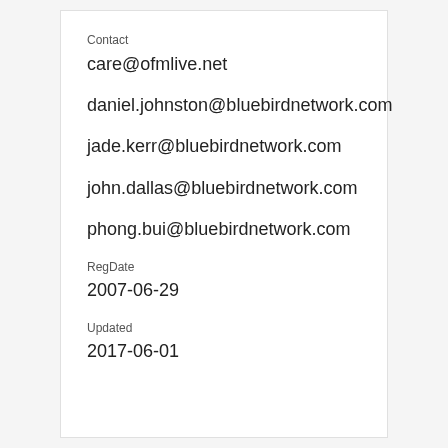Contact
care@ofmlive.net
daniel.johnston@bluebirdnetwork.com
jade.kerr@bluebirdnetwork.com
john.dallas@bluebirdnetwork.com
phong.bui@bluebirdnetwork.com
RegDate
2007-06-29
Updated
2017-06-01